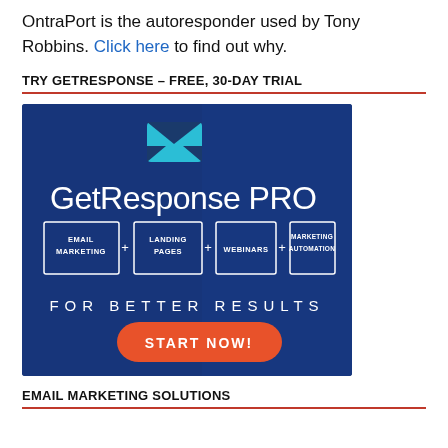OntraPort is the autoresponder used by Tony Robbins. Click here to find out why.
TRY GETRESPONSE – FREE, 30-DAY TRIAL
[Figure (infographic): GetResponse PRO advertisement banner with dark blue background showing email icon, large text 'GetResponse PRO', four feature boxes (EMAIL MARKETING + LANDING PAGES + WEBINARS + MARKETING AUTOMATION), tagline 'FOR BETTER RESULTS', and a red 'START NOW!' button.]
EMAIL MARKETING SOLUTIONS